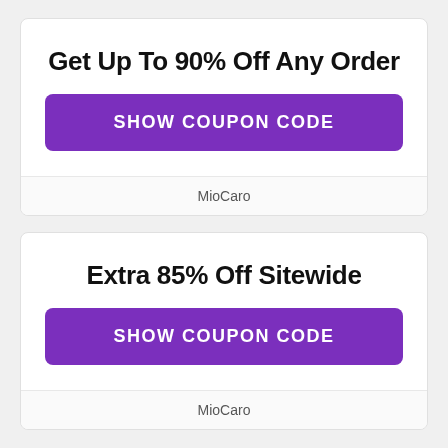Get Up To 90% Off Any Order
SHOW COUPON CODE
MioCaro
Extra 85% Off Sitewide
SHOW COUPON CODE
MioCaro